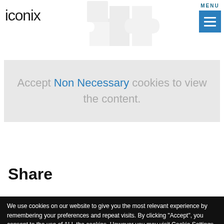iconix
[Figure (illustration): Faded puzzle piece icon in the header area]
Accept Non Necessary cookies to view the content.
Share
We use cookies on our website to give you the most relevant experience by remembering your preferences and repeat visits. By clicking "Accept", you consent to the use of ALL the cookies. However you may visit Cookie Settings to provide a controlled consent. Cookie Policy
Cookie settings  ACCEPT  REJECT